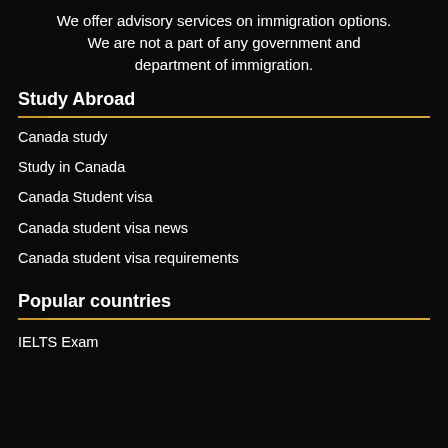We offer advisory services on immigration options. We are not a part of any government and department of immigration.
Study Abroad
Canada study
Study in Canada
Canada Student visa
Canada student visa news
Canada student visa requirements
Popular countries
IELTS Exam